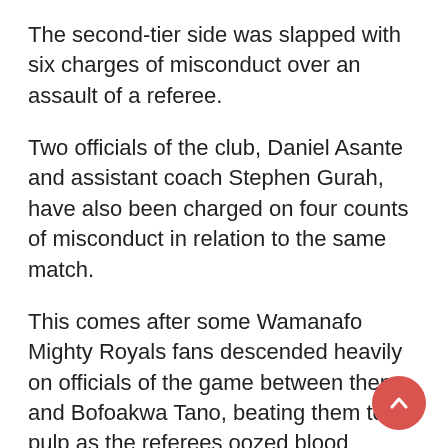The second-tier side was slapped with six charges of misconduct over an assault of a referee.
Two officials of the club, Daniel Asante and assistant coach Stephen Gurah, have also been charged on four counts of misconduct in relation to the same match.
This comes after some Wamanafo Mighty Royals fans descended heavily on officials of the game between them and Bofoakwa Tano, beating them to a pulp as the referees oozed blood through their noses.
“The Club and the two officials are expected to submit their Statements of Defence or appear in person before the GFA Disciplinary Committee,” the FA wrote on their official website.
Below are the charges: